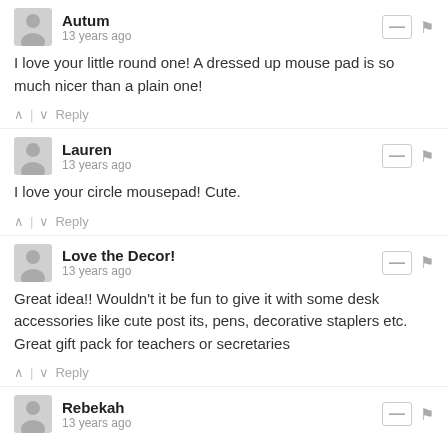Autum
13 years ago
I love your little round one! A dressed up mouse pad is so much nicer than a plain one!
Lauren
13 years ago
I love your circle mousepad! Cute.
Love the Decor!
13 years ago
Great idea!! Wouldn't it be fun to give it with some desk accessories like cute post its, pens, decorative staplers etc. Great gift pack for teachers or secretaries
Rebekah
13 years ago
We always said, "white rabbit!" ;)